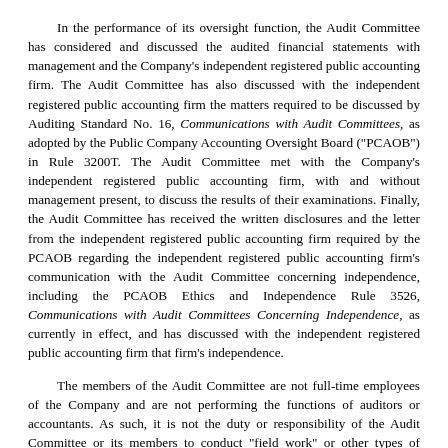In the performance of its oversight function, the Audit Committee has considered and discussed the audited financial statements with management and the Company's independent registered public accounting firm. The Audit Committee has also discussed with the independent registered public accounting firm the matters required to be discussed by Auditing Standard No. 16, Communications with Audit Committees, as adopted by the Public Company Accounting Oversight Board ("PCAOB") in Rule 3200T. The Audit Committee met with the Company's independent registered public accounting firm, with and without management present, to discuss the results of their examinations. Finally, the Audit Committee has received the written disclosures and the letter from the independent registered public accounting firm required by the PCAOB regarding the independent registered public accounting firm's communication with the Audit Committee concerning independence, including the PCAOB Ethics and Independence Rule 3526, Communications with Audit Committees Concerning Independence, as currently in effect, and has discussed with the independent registered public accounting firm that firm's independence.
The members of the Audit Committee are not full-time employees of the Company and are not performing the functions of auditors or accountants. As such, it is not the duty or responsibility of the Audit Committee or its members to conduct "field work" or other types of auditing or accounting reviews or procedures or to set auditor independence standards. Members of the Audit Committee necessarily rely on the information provided to them by management and the independent registered public accounting firm. Accordingly, the Audit Committee's considerations and discussions referred to above do not assure that